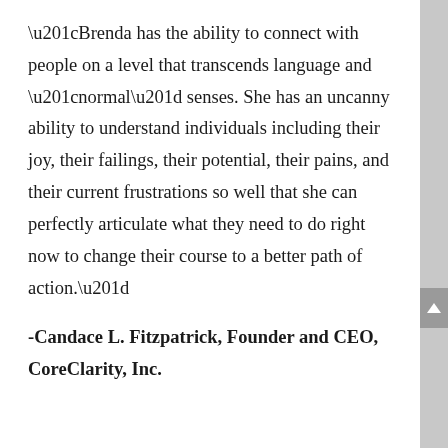“Brenda has the ability to connect with people on a level that transcends language and “normal” senses. She has an uncanny ability to understand individuals including their joy, their failings, their potential, their pains, and their current frustrations so well that she can perfectly articulate what they need to do right now to change their course to a better path of action.”
-Candace L. Fitzpatrick, Founder and CEO, CoreClarity, Inc.